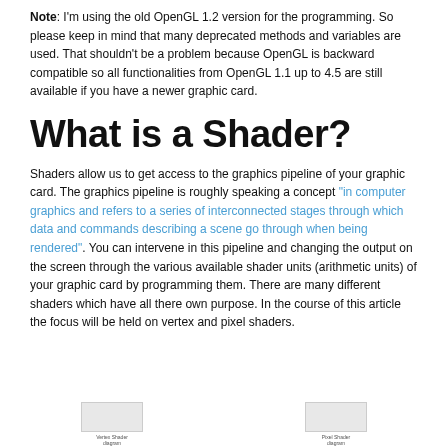Note: I'm using the old OpenGL 1.2 version for the programming. So please keep in mind that many deprecated methods and variables are used. That shouldn't be a problem because OpenGL is backward compatible so all functionalities from OpenGL 1.1 up to 4.5 are still available if you have a newer graphic card.
What is a Shader?
Shaders allow us to get access to the graphics pipeline of your graphic card. The graphics pipeline is roughly speaking a concept "in computer graphics and refers to a series of interconnected stages through which data and commands describing a scene go through when being rendered". You can intervene in this pipeline and changing the output on the screen through the various available shader units (arithmetic units) of your graphic card by programming them. There are many different shaders which have all there own purpose. In the course of this article the focus will be held on vertex and pixel shaders.
[Figure (illustration): Two small thumbnail images at the bottom of the page with captions]